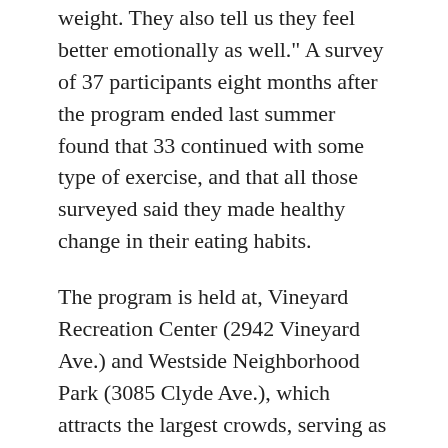weight. They also tell us they feel better emotionally as well." A survey of 37 participants eight months after the program ended last summer found that 33 continued with some type of exercise, and that all those surveyed said they made healthy change in their eating habits.
The program is held at, Vineyard Recreation Center (2942 Vineyard Ave.) and Westside Neighborhood Park (3085 Clyde Ave.), which attracts the largest crowds, serving as many as 70 people daily.
Learn more about Healthy Habits.
Filed Under: Fitness, Mom's Health, Out and About